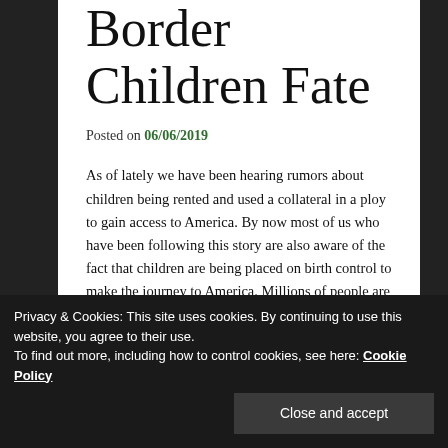Border Children Fate
Posted on 06/06/2019
As of lately we have been hearing rumors about children being rented and used a collateral in a ploy to gain access to America. By now most of us who have been following this story are also aware of the fact that children are being placed on birth control to make the journey to America. Millions of people are calling for the children to be united with their parents, however is that placing the children in harms way?
[Figure (photo): Partial image of people near border, dark green tones visible at bottom of page]
Privacy & Cookies: This site uses cookies. By continuing to use this website, you agree to their use.
To find out more, including how to control cookies, see here: Cookie Policy
Close and accept